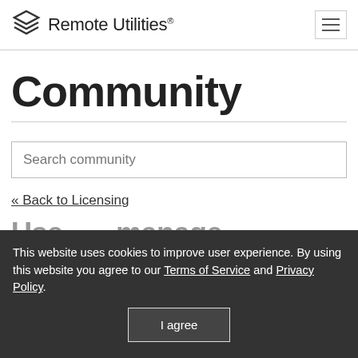Remote Utilities®
Community
Search community
« Back to Licensing
Use... manage companies and technicians
This website uses cookies to improve user experience. By using this website you agree to our Terms of Service and Privacy Policy.
I agree